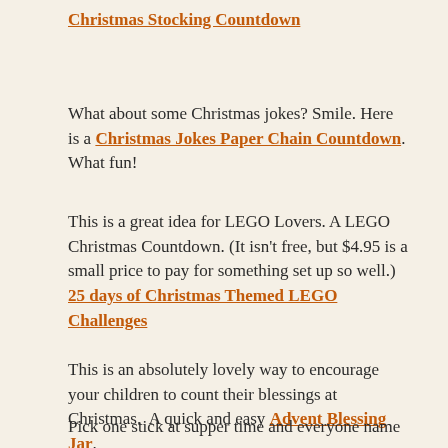Christmas Stocking Countdown
What about some Christmas jokes? Smile. Here is a Christmas Jokes Paper Chain Countdown. What fun!
This is a great idea for LEGO Lovers. A LEGO Christmas Countdown. (It isn't free, but $4.95 is a small price to pay for something set up so well.) 25 days of Christmas Themed LEGO Challenges
This is an absolutely lovely way to encourage your children to count their blessings at Christmas.  A quick and easy Advent Blessing Jar.
Pick one stick at supper time and everyone name as many as